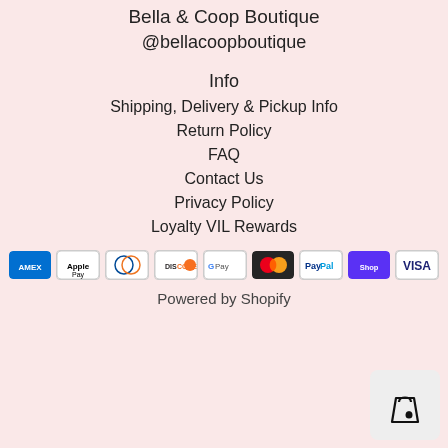Bella & Coop Boutique
@bellacoopboutique
Info
Shipping, Delivery & Pickup Info
Return Policy
FAQ
Contact Us
Privacy Policy
Loyalty VIL Rewards
[Figure (other): Payment method icons: Amex, Apple Pay, Diners Club, Discover, Google Pay, Mastercard, PayPal, Shop Pay, Visa]
Powered by Shopify